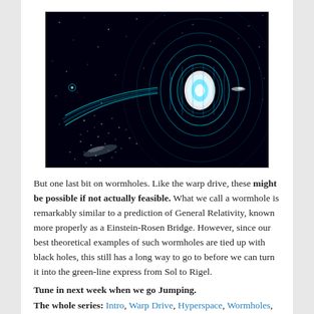[Figure (illustration): Artistic illustration of a wormhole in space — a glowing cyan-blue Einstein-Rosen Bridge/wormhole connecting two points, with concentric rings on the right side and a tunnel curving to the left against a starfield background.]
But one last bit on wormholes. Like the warp drive, these might be possible if not actually feasible. What we call a wormhole is remarkably similar to a prediction of General Relativity, known more properly as a Einstein-Rosen Bridge. However, since our best theoretical examples of such wormholes are tied up with black holes, this still has a long way to go to before we can turn it into the green-line express from Sol to Rigel.
Tune in next week when we go Jumping.
The whole series: Intro, Warp Drive, Hyperspace, Wormholes, Jumping, Summary